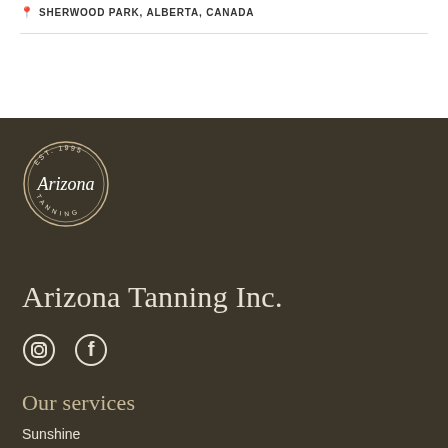SHERWOOD PARK, ALBERTA, CANADA
[Figure (logo): Arizona Tanning Inc. circular logo with text 'EST. 1995', 'Arizona', 'TANNING' in white on dark brown background]
Arizona Tanning Inc.
[Figure (illustration): Instagram and Facebook social media icons in white]
Our services
Sunshine